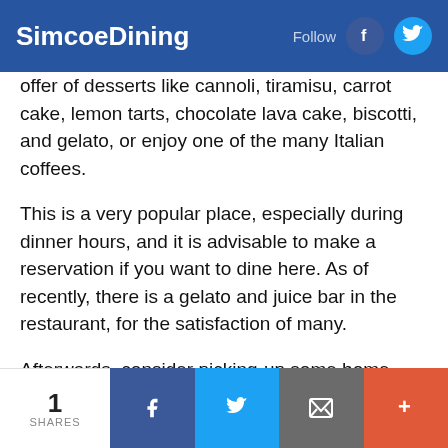SimcoeDining
offer of desserts like cannoli, tiramisu, carrot cake, lemon tarts, chocolate lava cake, biscotti, and gelato, or enjoy one of the many Italian coffees.
This is a very popular place, especially during dinner hours, and it is advisable to make a reservation if you want to dine here. As of recently, there is a gelato and juice bar in the restaurant, for the satisfaction of many.
Afterwards, consider picking-up some home-made entrees at Tesoro Mercato or some desserts at Avalanche Homemade Gelato, both sharing the same space as the restaurant.
Note: Tesoro is usually closed Sunday, unless a
1 SHARES